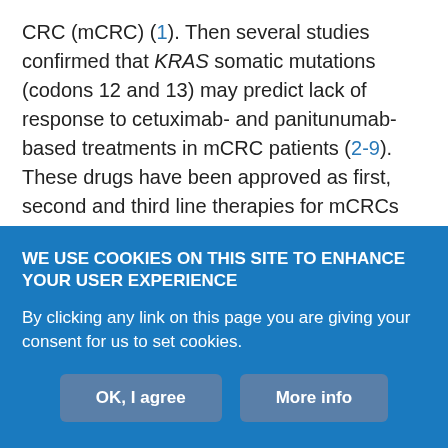CRC (mCRC) (1). Then several studies confirmed that KRAS somatic mutations (codons 12 and 13) may predict lack of response to cetuximab- and panitunumab-based treatments in mCRC patients (2-9). These drugs have been approved as first, second and third line therapies for mCRCs (10-12). Therefore mutational analysis is mandatory before treatment, and reliable benchmarks for the frequency and types of KRAS mutations must be established to enable routine testing of mCRCs. These results have affected the way anti-EGFR drugs are prescribed; the European Medicine Agency (EMEA) has restricted drug prescription to patients with wild type (wt) KRAS in tumours because tumour with mutated KRAS did
WE USE COOKIES ON THIS SITE TO ENHANCE YOUR USER EXPERIENCE
By clicking any link on this page you are giving your consent for us to set cookies.